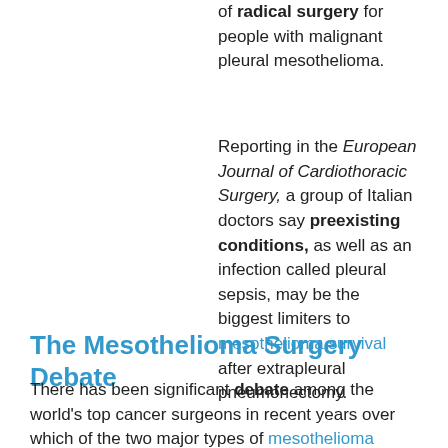of radical surgery for people with malignant pleural mesothelioma.
Reporting in the European Journal of Cardiothoracic Surgery, a group of Italian doctors say preexisting conditions, as well as an infection called pleural sepsis, may be the biggest limiters to mesothelioma survival after extrapleural pneumonectomy.
The Mesothelioma Surgery Debate
There has been significant debate among the world's top cancer surgeons in recent years over which of the two major types of mesothelioma surgery is best.
The most radical type of mesothelioma surgery, extrapleural pneumonectomy (EPP), involves the removal of the pleural membrane, all or part of the diaphragm, other at-risk tissues, and one lung. Pleurectomy with decortication (PD) also removes